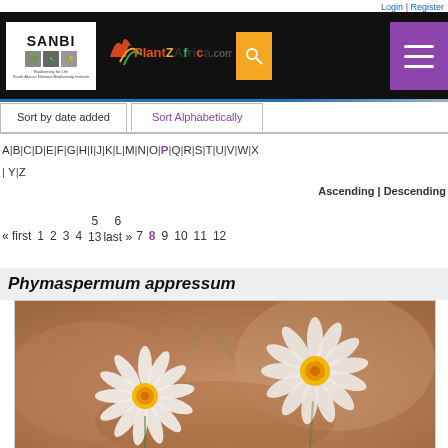Login | Register — PlantZAfrica.com — SANBI header
Sort by date added | Sort Alphabetically
A|B|C|D|E|F|G|H|I|J|K|L|M|N|O|P|Q|R|S|T|U|V|W|X|Y|Z
Ascending | Descending
« first  1  2  3  4  5  6  7  8  9  10  11  12  13  last »
Phymaspermum appressum
[Figure (photo): Photograph of Phymaspermum appressum flowers — white daisy-like flowers with yellow centres on a blurred brown background]